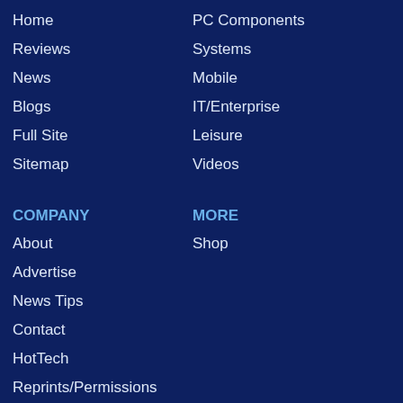Home
PC Components
Reviews
Systems
News
Mobile
Blogs
IT/Enterprise
Full Site
Leisure
Sitemap
Videos
COMPANY
MORE
About
Shop
Advertise
News Tips
Contact
HotTech
Reprints/Permissions